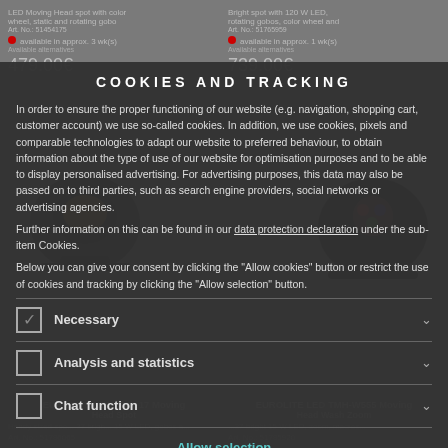COOKIES AND TRACKING
In order to ensure the proper functioning of our website (e.g. navigation, shopping cart, customer account) we use so-called cookies. In addition, we use cookies, pixels and comparable technologies to adapt our website to preferred behaviour, to obtain information about the type of use of our website for optimisation purposes and to be able to display personalised advertising. For advertising purposes, this data may also be passed on to third parties, such as search engine providers, social networks or advertising agencies.
Further information on this can be found in our data protection declaration under the sub-item Cookies.
Below you can give your consent by clicking the "Allow cookies" button or restrict the use of cookies and tracking by clicking the "Allow selection" button.
Necessary
Analysis and statistics
Chat function
Allow selection
Allow Cookies